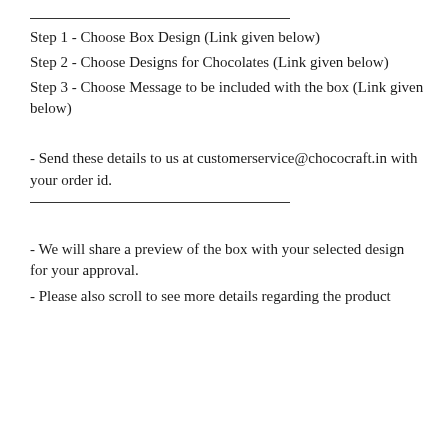Step 1 - Choose Box Design (Link given below)
Step 2 - Choose Designs for Chocolates (Link given below)
Step 3 - Choose Message to be included with the box (Link given below)
- Send these details to us at customerservice@chococraft.in with your order id.
- We will share a preview of the box with your selected design for your approval.
- Please also scroll to see more details regarding the product